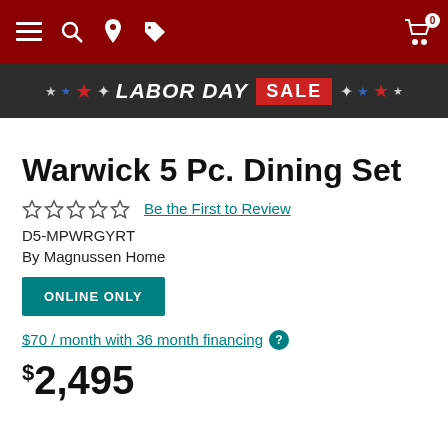Navigation bar with menu, search, location, tag icons and cart (0)
[Figure (infographic): Labor Day Sale banner with stars on dark background]
Warwick 5 Pc. Dining Set
☆☆☆☆☆  Be the First to Review
D5-MPWRGYRT
By Magnussen Home
ONLINE ONLY
$70 / month with 36 month financing ?
$2,495